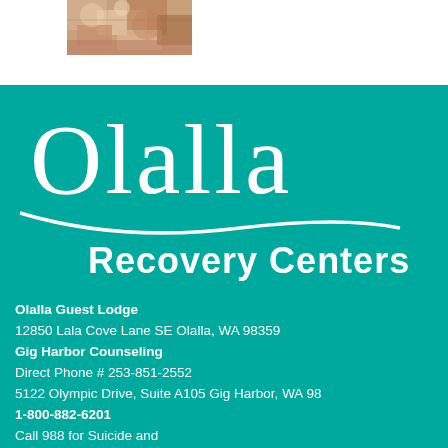[Figure (photo): Small photograph at top of page showing colorful mixed imagery]
[Figure (logo): Olalla Recovery Centers logo — white text on teal background, large serif Olalla with decorative swash, bold sans-serif Recovery Centers below]
Olalla Guest Lodge
12850 Lala Cove Lane SE Olalla, WA 98359
Gig Harbor Counseling
Direct Phone # 253-851-2552
5122 Olympic Drive, Suite A105 Gig Harbor, WA 98335
1-800-882-6201
Call 988 for Suicide and
Crisis Helpline